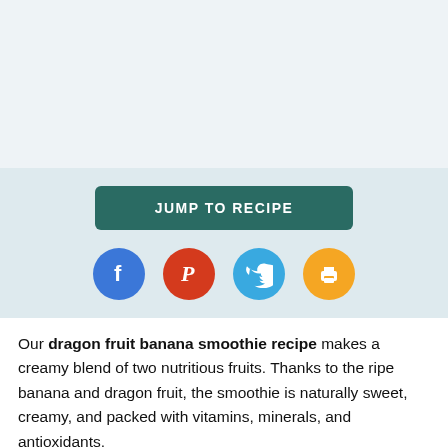[Figure (screenshot): Light blue-grey top area, likely an image placeholder area]
[Figure (infographic): Banner with teal JUMP TO RECIPE button and four social media icon circles: Facebook (blue), Pinterest (red-orange), Twitter (light blue), Print (orange)]
Our dragon fruit banana smoothie recipe makes a creamy blend of two nutritious fruits. Thanks to the ripe banana and dragon fruit, the smoothie is naturally sweet, creamy, and packed with vitamins, minerals, and antioxidants. Additionally, the drink is high in fiber, which will keep you satiated for a longer period of time.